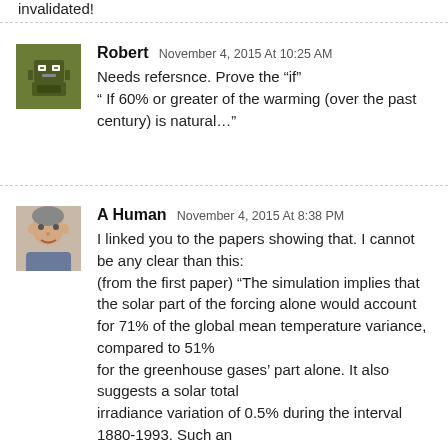invalidated!
Robert November 4, 2015 At 10:25 AM
Needs refersnce. Prove the "if"
" If 60% or greater of the warming (over the past century) is natural..."
A Human November 4, 2015 At 8:38 PM
I linked you to the papers showing that. I cannot be any clear than this:
(from the first paper) “The simulation implies that the solar part of the forcing alone would account for 71% of the global mean temperature variance, compared to 51% for the greenhouse gases’ part alone. It also suggests a solar total irradiance variation of 0.5% during the interval 1880-1993. Such an